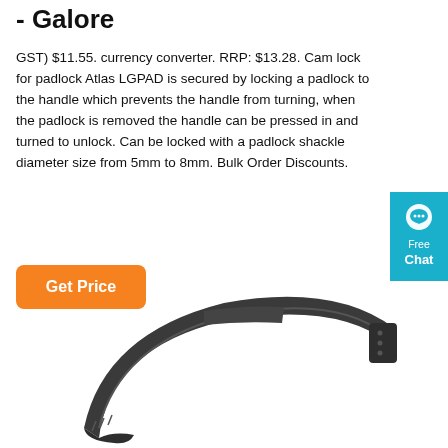- Galore
GST) $11.55. currency converter. RRP: $13.28. Cam lock for padlock Atlas LGPAD is secured by locking a padlock to the handle which prevents the handle from turning, when the padlock is removed the handle can be pressed in and turned to unlock. Can be locked with a padlock shackle diameter size from 5mm to 8mm. Bulk Order Discounts.
[Figure (other): Orange 'Get Price' button]
[Figure (photo): Black curved cam lock handle product (Atlas LGPAD) photographed on white background, showing a slender arc-shaped black metal/plastic handle with perforated holes at one end]